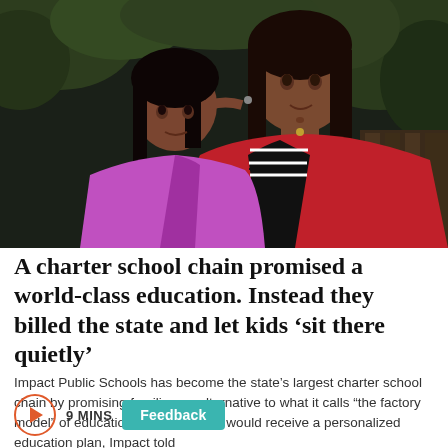[Figure (photo): A woman in a red jacket hugging a young girl in a purple/magenta puffer jacket. They are outdoors with trees and greenery in the background. The woman looks at the camera while the girl leans against her.]
A charter school chain promised a world-class education. Instead they billed the state and let kids ‘sit there quietly’
Impact Public Schools has become the state’s largest charter school chain by promising families an alternative to what it calls “the factory model” of education. Every student would receive a personalized education plan, Impact told
9 MINS
Feedback